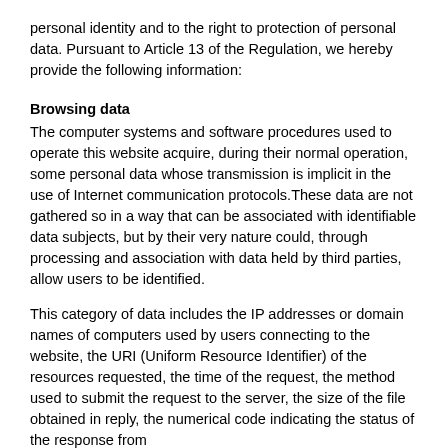personal identity and to the right to protection of personal data. Pursuant to Article 13 of the Regulation, we hereby provide the following information:
Browsing data
The computer systems and software procedures used to operate this website acquire, during their normal operation, some personal data whose transmission is implicit in the use of Internet communication protocols.These data are not gathered so in a way that can be associated with identifiable data subjects, but by their very nature could, through processing and association with data held by third parties, allow users to be identified.
This category of data includes the IP addresses or domain names of computers used by users connecting to the website, the URI (Uniform Resource Identifier) of the resources requested, the time of the request, the method used to submit the request to the server, the size of the file obtained in reply, the numerical code indicating the status of the response from